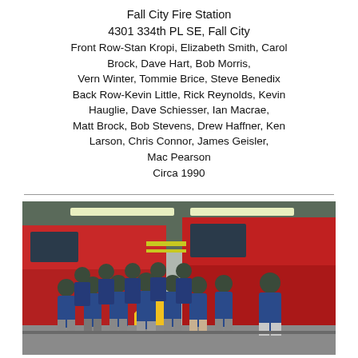Fall City Fire Station
4301 334th PL SE, Fall City
Front Row-Stan Kropi, Elizabeth Smith, Carol Brock, Dave Hart, Bob Morris, Vern Winter, Tommie Brice, Steve Benedix
Back Row-Kevin Little, Rick Reynolds, Kevin Hauglie, Dave Schiesser, Ian Macrae, Matt Brock, Bob Stevens, Drew Haffner, Ken Larson, Chris Connor, James Geisler, Mac Pearson
Circa 1990
[Figure (photo): Group photo of firefighters in blue jackets and green berets standing in front of red fire trucks inside a fire station bay, circa 1990.]